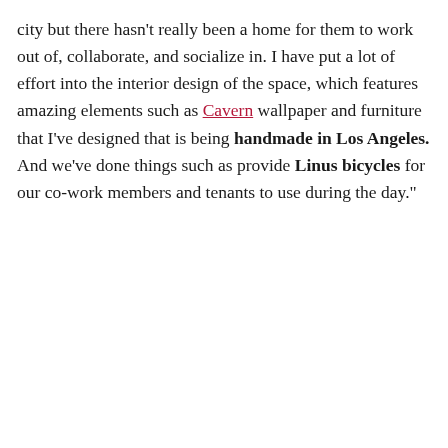city but there hasn't really been a home for them to work out of, collaborate, and socialize in. I have put a lot of effort into the interior design of the space, which features amazing elements such as Cavern wallpaper and furniture that I've designed that is being handmade in Los Angeles. And we've done things such as provide Linus bicycles for our co-work members and tenants to use during the day."